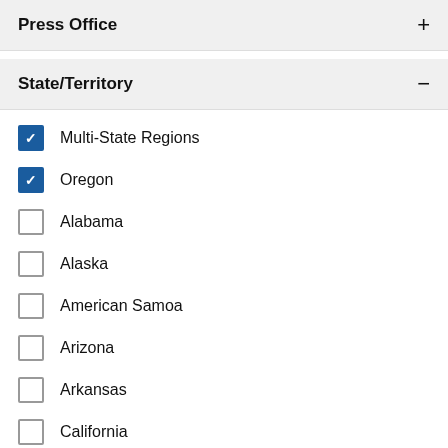Press Office
State/Territory
Multi-State Regions (checked)
Oregon (checked)
Alabama
Alaska
American Samoa
Arizona
Arkansas
California
Central America & Caribbean
Colorado